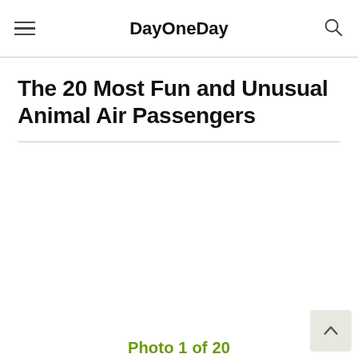DayOneDay
The 20 Most Fun and Unusual Animal Air Passengers
[Figure (other): Empty white photo placeholder area]
Photo 1 of 20